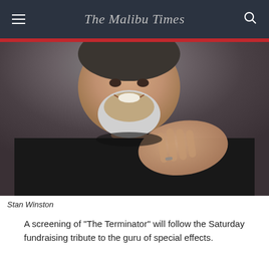The Malibu Times
[Figure (photo): Black and white photo of Stan Winston, a man with a white beard wearing a black sweater, smiling and clasping his hands together at chest level]
Stan Winston
A screening of "The Terminator" will follow the Saturday fundraising tribute to the guru of special effects.